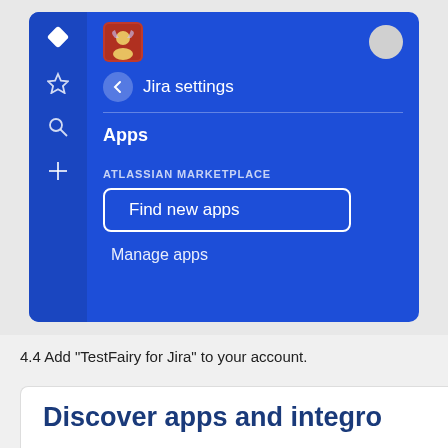[Figure (screenshot): Jira settings panel showing the Apps section with 'Find new apps' highlighted with a white rounded rectangle border, and 'Manage apps' below it. Left sidebar shows Jira icons. Top shows a TestFairy avatar and a back button with 'Jira settings' label.]
4.4 Add "TestFairy for Jira" to your account.
Discover apps and integro